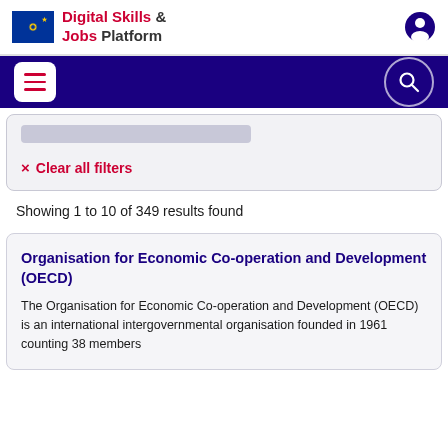Digital Skills & Jobs Platform
× Clear all filters
Showing 1 to 10 of 349 results found
Organisation for Economic Co-operation and Development (OECD)
The Organisation for Economic Co-operation and Development (OECD) is an international intergovernmental organisation founded in 1961 counting 38 members